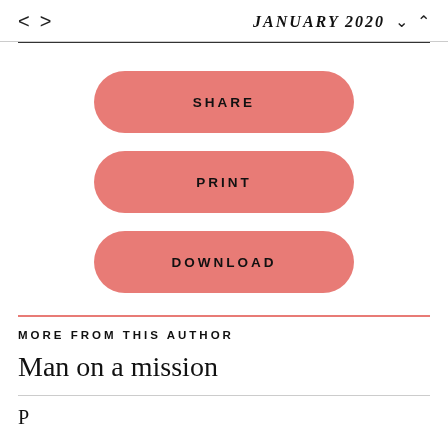< > JANUARY 2020 ∨ ∧
[Figure (other): Three rounded salmon/pink buttons labeled SHARE, PRINT, and DOWNLOAD stacked vertically]
MORE FROM THIS AUTHOR
Man on a mission
P...